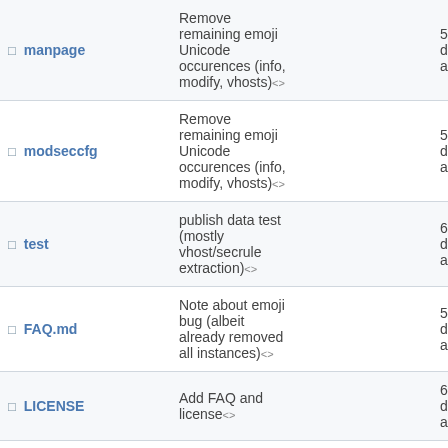| Name | Message | Age |
| --- | --- | --- |
| manpage | Remove remaining emoji Unicode occurences (info, modify, vhosts)<> | 539 days ago |
| modseccfg | Remove remaining emoji Unicode occurences (info, modify, vhosts)<> | 539 days ago |
| test | publish data test (mostly vhost/secrule extraction)<> | 624 days ago |
| FAQ.md | Note about emoji bug (albeit already removed all instances)<> | 531 days ago |
| LICENSE | Add FAQ and license<> | 641 days ago |